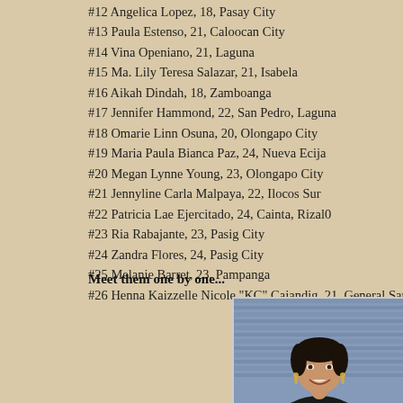#12 Angelica Lopez, 18, Pasay City
#13 Paula Estenso, 21, Caloocan City
#14 Vina Openiano, 21, Laguna
#15 Ma. Lily Teresa Salazar, 21, Isabela
#16 Aikah Dindah, 18, Zamboanga
#17 Jennifer Hammond, 22, San Pedro, Laguna
#18 Omarie Linn Osuna, 20, Olongapo City
#19 Maria Paula Bianca Paz, 24, Nueva Ecija
#20 Megan Lynne Young, 23, Olongapo City
#21 Jennyline Carla Malpaya, 22, Ilocos Sur
#22 Patricia Lae Ejercitado, 24, Cainta, Rizal0
#23 Ria Rabajante, 23, Pasig City
#24 Zandra Flores, 24, Pasig City
#25 Melanie Barret, 23, Pampanga
#26 Henna Kaizzelle Nicole "KC" Cajandig, 21, General Santos City
Meet them one by one...
[Figure (photo): A young woman smiling, photographed at an event with a striped blue/grey background, wearing earrings.]